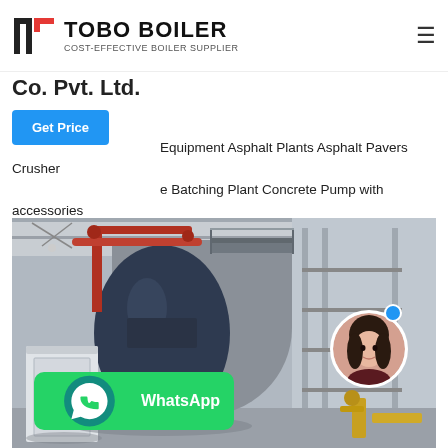TOBO BOILER — COST-EFFECTIVE BOILER SUPPLIER
Co. Pvt. Ltd.
Equipment Asphalt Plants Asphalt Pavers Crusher Batching Plant Concrete Pump with accessories Hydraulic Excavators Backhoe Loader Loaders Steel Wheel Road Roller Pneumatic Tyred Roller (Komatsu) Motor Grader Bitumen…
[Figure (photo): Industrial boiler installation in a factory — a large dark-blue cylindrical boiler unit with red/copper piping overhead, a white electrical control cabinet to the left, metal walkways/grating behind the boiler, and yellow pipe fittings in the foreground right. WhatsApp button overlay (green bar) in lower-left and a circular avatar photo of a woman in lower-right.]